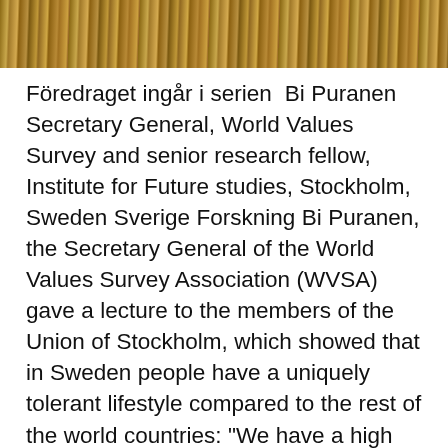[Figure (photo): Top strip photo showing golden/amber colored organ pipes or similar metallic cylindrical rods arranged vertically, cropped to a narrow horizontal band.]
Föredraget ingår i serien  Bi Puranen Secretary General, World Values Survey and senior research fellow, Institute for Future studies, Stockholm, Sweden Sverige Forskning Bi Puranen, the Secretary General of the World Values Survey Association (WVSA) gave a lecture to the members of the Union of Stockholm, which showed that in Sweden people have a uniquely tolerant lifestyle compared to the rest of the world countries: "We have a high tolerance for people's own choice, and it causes an intolerance to those who do not share this lifestyle. COVID-19 Crisis Boosts Progressive Values Amidst Growing Pessimism – International Panel Study A unique panel survey conducted in 24 countries by Professor Ronald Inglehart, Founder and First President (1981-2013) of the World Val...